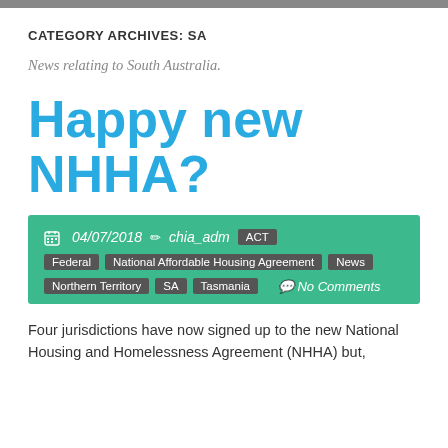CATEGORY ARCHIVES: SA
News relating to South Australia.
Happy new NHHA?
04/07/2018  chia_adm  ACT  Federal  National Affordable Housing Agreement  News  Northern Territory  SA  Tasmania  No Comments
Four jurisdictions have now signed up to the new National Housing and Homelessness Agreement (NHHA) but,